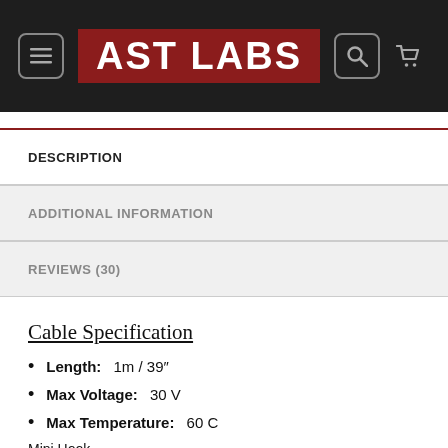AST LABS
DESCRIPTION
ADDITIONAL INFORMATION
REVIEWS (30)
Cable Specification
Length: 1m / 39″
Max Voltage: 30 V
Max Temperature: 60 C
Mini Hook